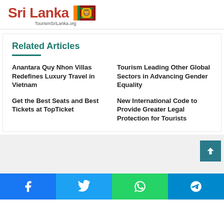Sri Lanka TourismSriLanka.org
Related Articles
Anantara Quy Nhon Villas Redefines Luxury Travel in Vietnam
Tourism Leading Other Global Sectors in Advancing Gender Equality
Get the Best Seats and Best Tickets at TopTicket
New International Code to Provide Greater Legal Protection for Tourists